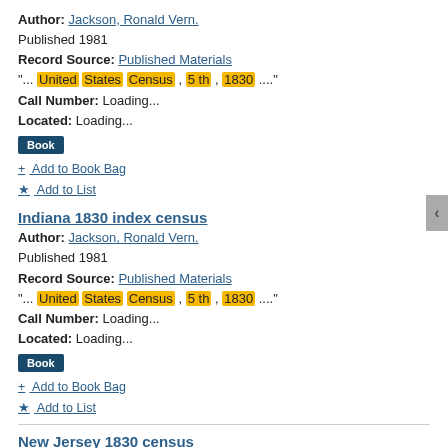Author: Jackson, Ronald Vern.
Published 1981
Record Source: Published Materials
"... United States Census , 5 th , 1830 ...."
Call Number: Loading...
Located: Loading...
Book
+ Add to Book Bag
★ Add to List
Indiana 1830 index census
Author: Jackson, Ronald Vern.
Published 1981
Record Source: Published Materials
"... United States Census , 5 th , 1830 ...."
Call Number: Loading...
Located: Loading...
Book
+ Add to Book Bag
★ Add to List
New Jersey 1830 census